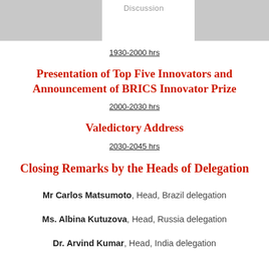[Figure (other): Partial table row from previous page with shaded cells and 'Discussion' text label at top]
1930-2000 hrs
Presentation of Top Five Innovators and Announcement of BRICS Innovator Prize
2000-2030 hrs
Valedictory Address
2030-2045 hrs
Closing Remarks by the Heads of Delegation
Mr Carlos Matsumoto, Head, Brazil delegation
Ms. Albina Kutuzova, Head, Russia delegation
Dr. Arvind Kumar, Head, India delegation